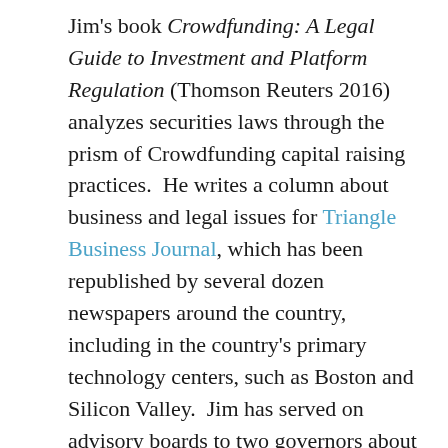Jim's book Crowdfunding: A Legal Guide to Investment and Platform Regulation (Thomson Reuters 2016) analyzes securities laws through the prism of Crowdfunding capital raising practices.  He writes a column about business and legal issues for Triangle Business Journal, which has been republished by several dozen newspapers around the country, including in the country's primary technology centers, such as Boston and Silicon Valley.  Jim has served on advisory boards to two governors about state policies to encourage the growth of technology businesses.  He authored a North Carolina a statute that granted tax credits to investors in technology companies and other entrepreneurial businesses and provided advice